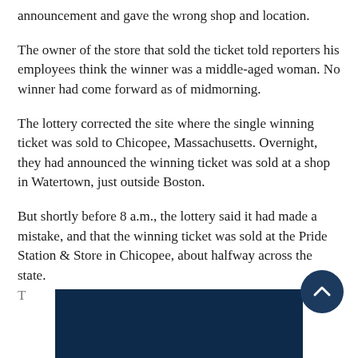announcement and gave the wrong shop and location.
The owner of the store that sold the ticket told reporters his employees think the winner was a middle-aged woman. No winner had come forward as of midmorning.
The lottery corrected the site where the single winning ticket was sold to Chicopee, Massachusetts. Overnight, they had announced the winning ticket was sold at a shop in Watertown, just outside Boston.
But shortly before 8 a.m., the lottery said it had made a mistake, and that the winning ticket was sold at the Pride Station & Store in Chicopee, about halfway across the state.
[Figure (other): Dark navy blue banner/advertisement block at the bottom of the page, with a circular scroll-to-top button overlaid on the right side.]